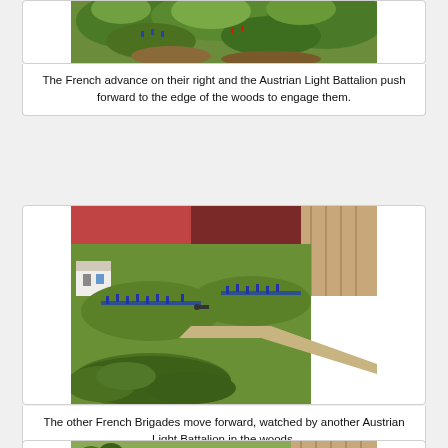[Figure (photo): Miniature wargame photo showing green terrain with troops advancing through woods — top portion of image visible]
The French advance on their right and the Austrian Light Battalion push forward to the edge of the woods to engage them.
[Figure (photo): Miniature wargame photo showing green game table with multiple French brigades advancing, watched by Austrian Light Battalion in the woods, road cutting diagonally across terrain]
The other French Brigades move forward, watched by another Austrian Light Battalion in the woods.
[Figure (photo): Miniature wargame photo showing green terrain with troops and buildings — top portion visible]